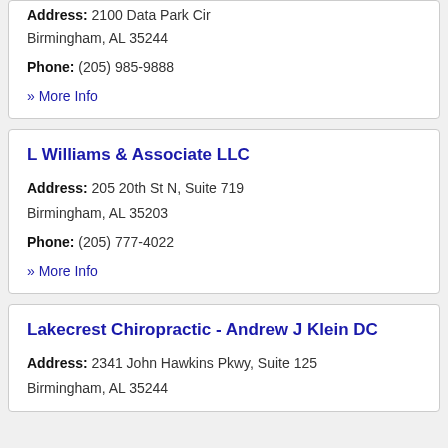Address: 2100 Data Park Cir Birmingham, AL 35244
Phone: (205) 985-9888
» More Info
L Williams & Associate LLC
Address: 205 20th St N, Suite 719 Birmingham, AL 35203
Phone: (205) 777-4022
» More Info
Lakecrest Chiropractic - Andrew J Klein DC
Address: 2341 John Hawkins Pkwy, Suite 125 Birmingham, AL 35244